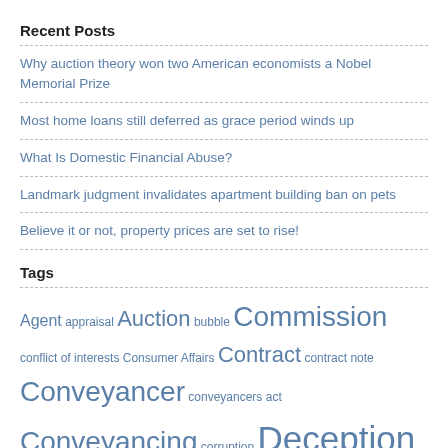Recent Posts
Why auction theory won two American economists a Nobel Memorial Prize
Most home loans still deferred as grace period winds up
What Is Domestic Financial Abuse?
Landmark judgment invalidates apartment building ban on pets
Believe it or not, property prices are set to rise!
Tags
Agent appraisal Auction bubble Commission conflict of interests Consumer Affairs Contract contract note Conveyancer conveyancers act Conveyancing corruption Deception Deposit Enzo Raimondo Estate agent Finance Inspection